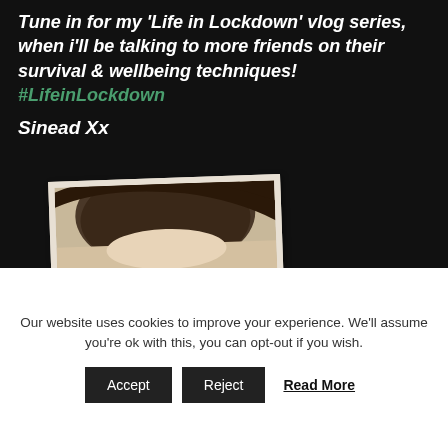Tune in for my 'Life in Lockdown' vlog series, when i'll be talking to more friends on their survival & wellbeing techniques! #LifeinLockdown
Sinead Xx
[Figure (photo): Partial photo of a person with dark brown hair, displayed as a polaroid-style photo tilted slightly, on a dark background]
Our website uses cookies to improve your experience. We'll assume you're ok with this, you can opt-out if you wish.
Accept   Reject   Read More